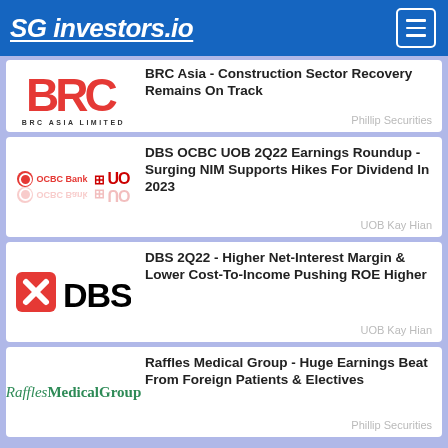SG investors.io
[Figure (logo): BRC Asia Limited logo - red stylized BRC letters with BRC ASIA LIMITED text below]
BRC Asia - Construction Sector Recovery Remains On Track
Phillip Securities
[Figure (logo): OCBC Bank and UOB bank logos side by side]
DBS OCBC UOB 2Q22 Earnings Roundup - Surging NIM Supports Hikes For Dividend In 2023
UOB Kay Hian
[Figure (logo): DBS Bank logo - red X symbol with DBS text]
DBS 2Q22 - Higher Net-Interest Margin & Lower Cost-To-Income Pushing ROE Higher
UOB Kay Hian
[Figure (logo): Raffles Medical Group logo in green serif font]
Raffles Medical Group - Huge Earnings Beat From Foreign Patients & Electives
Phillip Securities